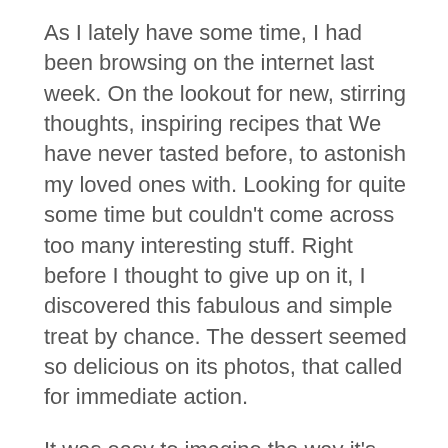As I lately have some time, I had been browsing on the internet last week. On the lookout for new, stirring thoughts, inspiring recipes that We have never tasted before, to astonish my loved ones with. Looking for quite some time but couldn't come across too many interesting stuff. Right before I thought to give up on it, I discovered this fabulous and simple treat by chance. The dessert seemed so delicious on its photos, that called for immediate action.
It was easy to imagine the way it's made, how it tastes and just how much boyfriend might like it. Actually, it is rather easy to delight him when it comes to desserts. Yes, I am a lucky one. Or perhaps he is.Anyhow, I visited the blog: Suncakemom and simply used the comprehensive instuctions that have been coupled with superb photos of the task. It just